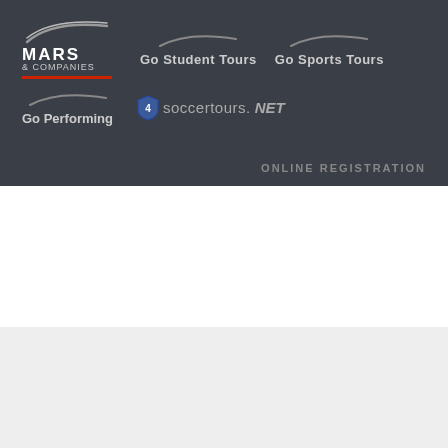[Figure (logo): Mars & Companies top navigation bar with logos: Mars & Companies (with red underline), Go Student Tours, Go Sports Tours, Go Performing, soccertours.NET, and ONLINE REGISTRATION text]
[Figure (logo): Mars & Companies main header logo with blue and dark swoosh arcs above bold MARS & COMPANIES text, plus hamburger menu button on the right]